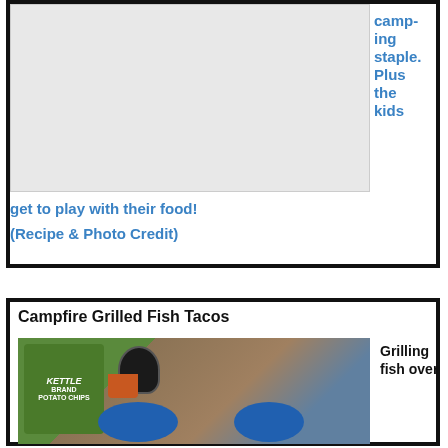[Figure (photo): Photo placeholder area showing camping/food image]
camping staple. Plus the kids get to play with their food!
(Recipe & Photo Credit)
Campfire Grilled Fish Tacos
[Figure (photo): Photo of Kettle Brand Potato Chips bag, dark drink, and blue bowls with food including what appears to be fish tacos]
Grilling fish over